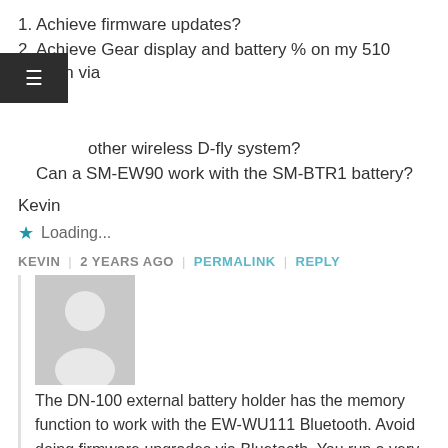1. Achieve firmware updates?
2. Achieve Gear display and battery % on my 510 Garmin via other wireless D-fly system?
Can a SM-EW90 work with the SM-BTR1 battery?
Kevin
Loading...
KEVIN | 2 YEARS AGO | PERMALINK | REPLY
[Figure (illustration): Generic user avatar placeholder - grey background with silhouette of person]
The DN-100 external battery holder has the memory function to work with the EW-WU111 Bluetooth. Avoid doing firmware upgrades via Bluetooth. You run a very high risk of bricking the system and will then need the PCE unit to restore any Di2 functionality. Typically a decent bike shop will have one of these.